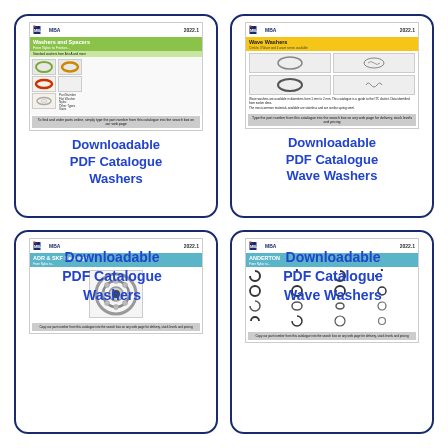[Figure (illustration): MBA 2022.1 Washers and Spacers PDF catalogue cover thumbnail inside a rounded card]
Downloadable PDF Catalogue Washers
[Figure (illustration): MBA 2022.1 Wave Washers PDF catalogue cover thumbnail inside a rounded card]
Downloadable PDF Catalogue Wave Washers
[Figure (illustration): MBA 2022.1 ADR & SKF Bearings PDF catalogue cover thumbnail inside a rounded card showing a ball bearing photo]
[Figure (illustration): MBA 2022.1 ANDERTON PDF catalogue cover thumbnail inside a rounded card showing circlip/retaining ring images]